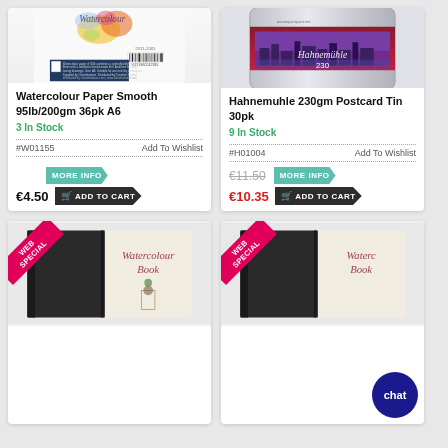[Figure (photo): Watercolour Paper Smooth product image showing a back label on blue background with barcode]
Watercolour Paper Smooth 95lb/200gm 36pk A6
3 In Stock
#W01155
Add To Wishlist
MORE INFO
€4.50
ADD TO CART
[Figure (photo): Hahnemuhle 230gm Postcard Tin 30pk product image showing a decorative tin with cityscape]
Hahnemuhle 230gm Postcard Tin 30pk
9 In Stock
#H01004
Add To Wishlist
MORE INFO
€11.50
€10.35
ADD TO CART
[Figure (photo): Watercolour Book product in black cover with Web Special ribbon badge]
[Figure (photo): Watercolour Book product in black cover with Web Special ribbon badge and chat bubble overlay]